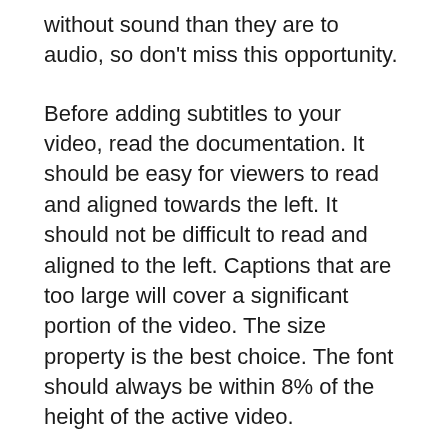without sound than they are to audio, so don't miss this opportunity.
Before adding subtitles to your video, read the documentation. It should be easy for viewers to read and aligned towards the left. It should not be difficult to read and aligned to the left. Captions that are too large will cover a significant portion of the video. The size property is the best choice. The font should always be within 8% of the height of the active video.
The styles menu allows you to adjust the font size and color. You can adjust the font color and style using the palette, hex colour code or pipette tools. The styles tab also lets you adjust the alignment of the text. The